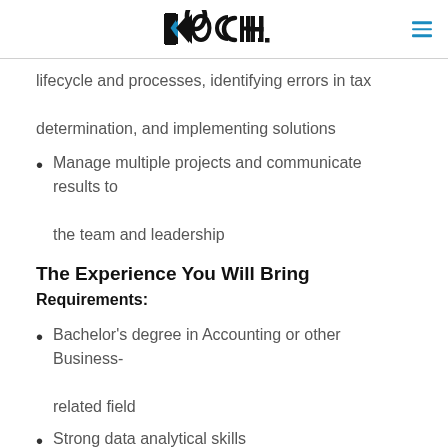KOCH.
lifecycle and processes, identifying errors in tax determination, and implementing solutions
Manage multiple projects and communicate results to the team and leadership
The Experience You Will Bring
Requirements:
Bachelor's degree in Accounting or other Business-related field
Strong data analytical skills
The ability to prioritize when working on multiple